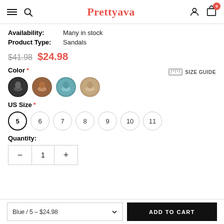Prettyava — navigation bar with hamburger, search, brand name, user icon, cart (0)
Availability: Many in stock
Product Type: Sandals
$41.98  $24.98
Color *
[Figure (illustration): Four circular color swatches showing product photos of sandals in different colors]
SIZE GUIDE
US Size *
Size options: 5 (selected), 6, 7, 8, 9, 10, 11
Quantity:
Quantity control: minus, 1, plus
Blue / 5 – $24.98   ADD TO CART